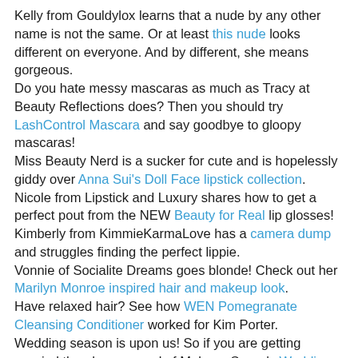Kelly from Gouldylox learns that a nude by any other name is not the same. Or at least this nude looks different on everyone. And by different, she means gorgeous.
Do you hate messy mascaras as much as Tracy at Beauty Reflections does? Then you should try LashControl Mascara and say goodbye to gloopy mascaras!
Miss Beauty Nerd is a sucker for cute and is hopelessly giddy over Anna Sui's Doll Face lipstick collection.
Nicole from Lipstick and Luxury shares how to get a perfect pout from the NEW Beauty for Real lip glosses!
Kimberly from KimmieKarmaLove has a camera dump and struggles finding the perfect lippie.
Vonnie of Socialite Dreams goes blonde! Check out her Marilyn Monroe inspired hair and makeup look.
Have relaxed hair? See how WEN Pomegranate Cleansing Conditioner worked for Kim Porter.
Wedding season is upon us! So if you are getting married then have a read of Makeup Savvy's Wedding Makeup Series for tips on how to look picture perfect for the big day.
Beauty's Bad Habit reviews and swatches uber geek chic indie make-up brand, Shiro Cosmetics.
Check out swatches and a review of Morgana Cryptoria's